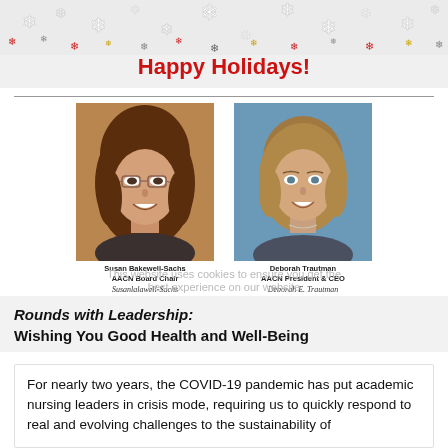[Figure (illustration): Happy Holidays banner with colorful snowflakes decoration on light gray background and red bold 'Happy Holidays!' text centered below]
[Figure (photo): Portrait photo of Susan Bakewell-Sachs, AACN Board Chair, a woman with brown hair and glasses, smiling]
[Figure (photo): Portrait photo of Deborah Trautman, AACN President & CEO, a woman with blonde hair, smiling, blue background]
Susan Bakewell-Sachs
AACN Board Chair
Deborah Trautman
AACN President & CEO
Rounds with Leadership:
Wishing You Good Health and Well-Being
For nearly two years, the COVID-19 pandemic has put academic nursing leaders in crisis mode, requiring us to quickly respond to real and evolving challenges to the sustainability of